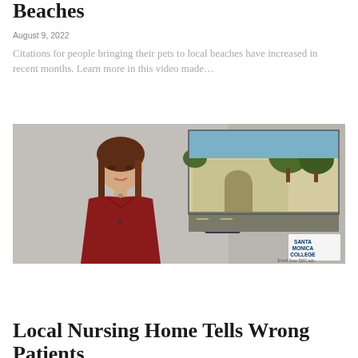Beaches
August 9, 2022
Citations for people bringing their pets to local beaches have increased in recent months. Learn more in this video made…
[Figure (screenshot): Video thumbnail showing a female news anchor in a red top speaking to camera, with an inset image of a building and parked cars. Santa Monica College logo visible in bottom-right corner.]
Local Nursing Home Tells Wrong Patients